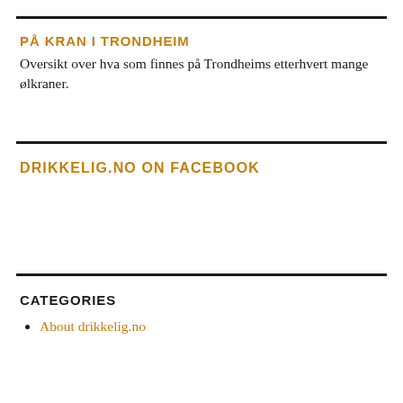PÅ KRAN I TRONDHEIM
Oversikt over hva som finnes på Trondheims etterhvert mange ølkraner.
DRIKKELIG.NO ON FACEBOOK
CATEGORIES
About drikkelig.no